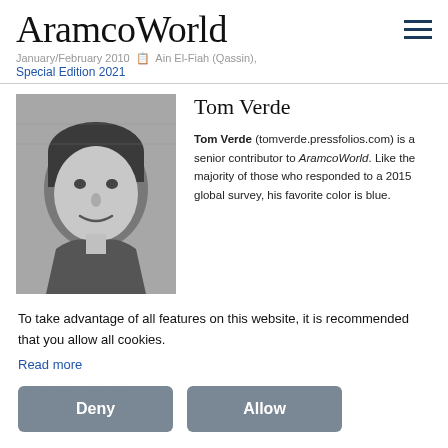AramcoWorld
January/February 2010 | Ain El-Fiah (Qassin), Special Edition 2021
[Figure (photo): Black and white headshot photo of Tom Verde, a middle-aged man with dark hair, looking at the camera with a slight smile, against a brick wall background.]
Tom Verde
Tom Verde (tomverde.pressfolios.com) is a senior contributor to AramcoWorld. Like the majority of those who responded to a 2015 global survey, his favorite color is blue.
To take advantage of all features on this website, it is recommended that you allow all cookies.
Read more
Deny
Allow
George Solans
Full bio